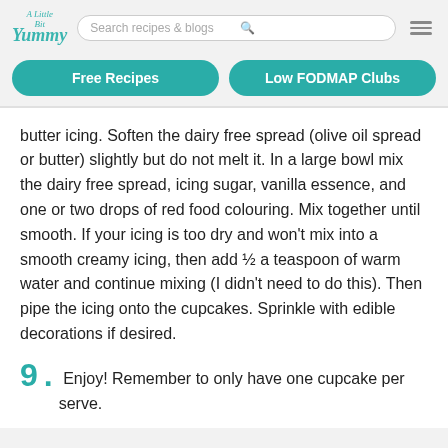A Little Bit Yummy — Search recipes & blogs
Free Recipes | Low FODMAP Clubs
butter icing. Soften the dairy free spread (olive oil spread or butter) slightly but do not melt it. In a large bowl mix the dairy free spread, icing sugar, vanilla essence, and one or two drops of red food colouring. Mix together until smooth. If your icing is too dry and won't mix into a smooth creamy icing, then add ½ a teaspoon of warm water and continue mixing (I didn't need to do this). Then pipe the icing onto the cupcakes. Sprinkle with edible decorations if desired.
9.  Enjoy! Remember to only have one cupcake per serve.